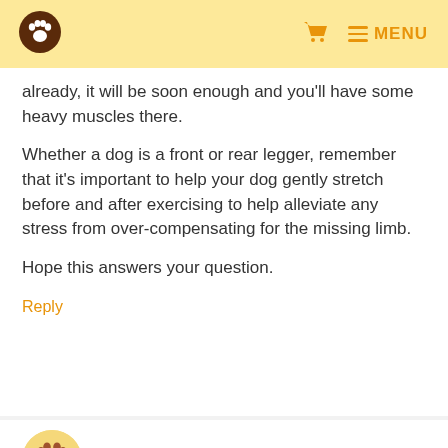already, it will be soon enough and you'll have some heavy muscles there.
Whether a dog is a front or rear legger, remember that it's important to help your dog gently stretch before and after exercising to help alleviate any stress from over-compensating for the missing limb.
Hope this answers your question.
Reply
Nancy Monaco